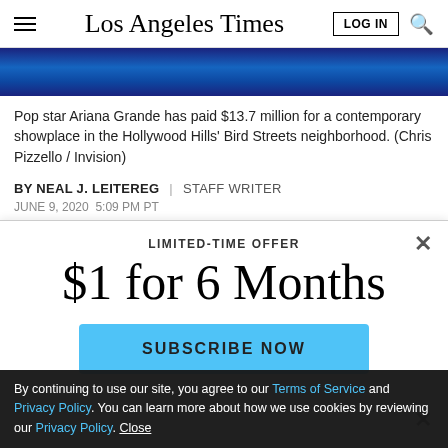Los Angeles Times
[Figure (photo): Dark blue atmospheric background image strip]
Pop star Ariana Grande has paid $13.7 million for a contemporary showplace in the Hollywood Hills' Bird Streets neighborhood. (Chris Pizzello / Invision)
BY NEAL J. LEITEREG | STAFF WRITER
JUNE 9, 2020 5:09 PM PT
LIMITED-TIME OFFER
$1 for 6 Months
SUBSCRIBE NOW
By continuing to use our site, you agree to our Terms of Service and Privacy Policy. You can learn more about how we use cookies by reviewing our Privacy Policy. Close